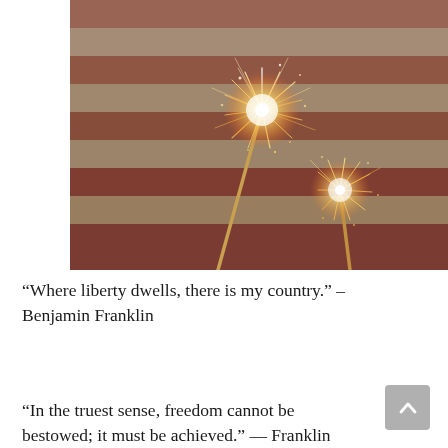[Figure (photo): Two sparklers lit and sparkling against a blurred American flag background, warm tones with red, white, and beige stripes visible behind the sparkle bursts]
“Where liberty dwells, there is my country.” – Benjamin Franklin
“In the truest sense, freedom cannot be bestowed; it must be achieved.” — Franklin